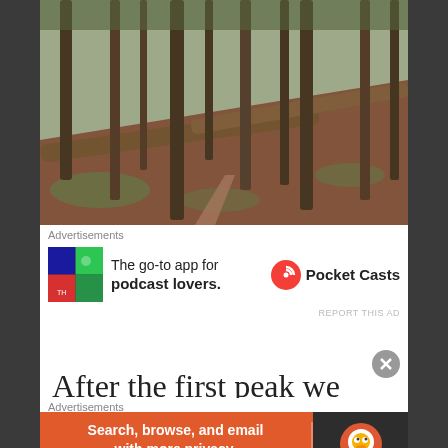[Figure (photo): Forest trail photo showing tall pine trees on a mossy slope with fallen logs and a dirt path]
Advertisements
[Figure (other): Pocket Casts advertisement banner: colorful app icon, text 'The go-to app for podcast lovers.' with Pocket Casts logo]
REPORT THIS AD
After the first peak we walked for
Advertisements
[Figure (other): DuckDuckGo advertisement: orange background, 'Search, browse, and email with more privacy. All in One Free App' with DuckDuckGo logo on dark right panel]